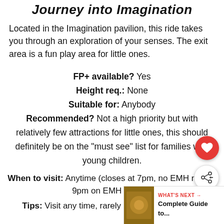Journey into Imagination
Located in the Imagination pavilion, this ride takes you through an exploration of your senses. The exit area is a fun play area for little ones.
FP+ available? Yes
Height req.: None
Suitable for: Anybody
Recommended? Not a high priority but with relatively few attractions for little ones, this should definitely be on the "must see" list for families with young children.
When to visit: Anytime (closes at 7pm, no EMH nights, 9pm on EMH nights).
Tips: Visit any time, rarely much of a wait (if the